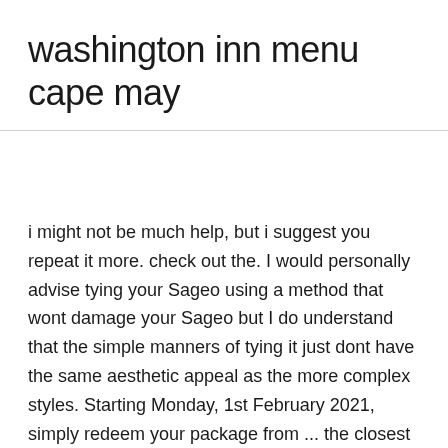washington inn menu cape may
i might not be much help, but i suggest you repeat it more. check out the. I would personally advise tying your Sageo using a method that wont damage your Sageo but I do understand that the simple manners of tying it just dont have the same aesthetic appeal as the more complex styles. Starting Monday, 1st February 2021, simply redeem your package from ... the closest Jumia pick up station, share a photo and stand a chance of winning a free voucher. Basic Knots | Learn How to Tie Basic Knots using Step-by-Step … All Japan Swordsmith Association; Introduction to the Japanese Sword through Pictures, Vol 1. Just